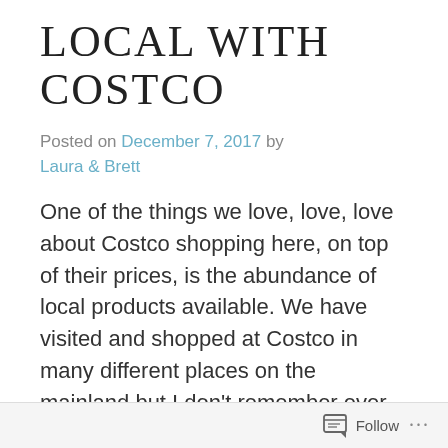LOCAL WITH COSTCO
Posted on December 7, 2017 by Laura & Brett
One of the things we love, love, love about Costco shopping here, on top of their prices, is the abundance of local products available. We have visited and shopped at Costco in many different places on the mainland but I don’t remember ever seeing so many things specifically
Follow ...